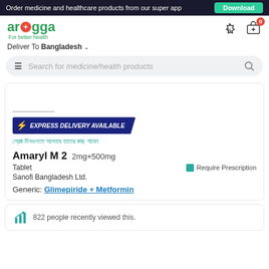Order medicine and healthcare products from our super app | Download
[Figure (logo): Arogga logo - green text with red cross icon, tagline 'For better health']
Deliver To Bangladesh
Search for medicine/health products
[Figure (infographic): EXPRESS DELIVERY AVAILABLE badge with lightning bolt icon]
bengali text - express delivery description
Amaryl M 2  2mg+500mg
Tablet  Require Prescription
Sanofi Bangladesh Ltd.
Generic: Glimepiride + Metformin
822 people recently viewed this.